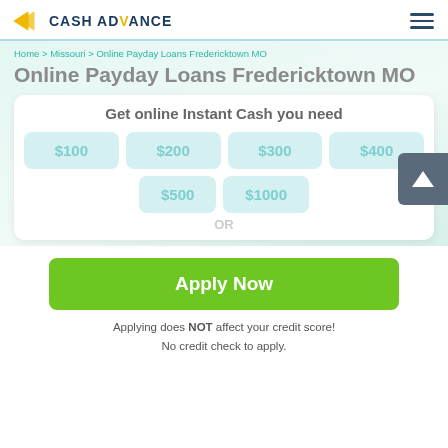[Figure (logo): Cash Advance logo with arrow icon and stylized text]
Home > Missouri > Online Payday Loans Fredericktown MO
Online Payday Loans Fredericktown MO
Get online Instant Cash you need
$100  $200  $300  $400  $500  $1000
OR
Apply Now
Applying does NOT affect your credit score!
No credit check to apply.